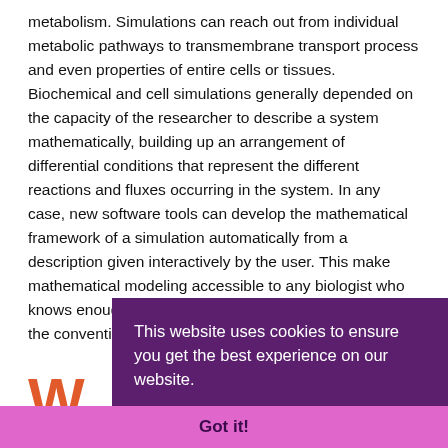metabolism. Simulations can reach out from individual metabolic pathways to transmembrane transport process and even properties of entire cells or tissues. Biochemical and cell simulations generally depended on the capacity of the researcher to describe a system mathematically, building up an arrangement of differential conditions that represent the different reactions and fluxes occurring in the system. In any case, new software tools can develop the mathematical framework of a simulation automatically from a description given interactively by the user. This make mathematical modeling accessible to any biologist who knows enough about a system to describe it according to the conventions of dynamical systems modeling.
W
As m... ana... task... look... linea... sequence information with existing genetic and physical map
[Figure (screenshot): Cookie consent overlay banner with purple background reading 'This website uses cookies to ensure you get the best experience on our website.' with a 'Learn more' link, and a pink/magenta 'Got it!' button bar at the bottom.]